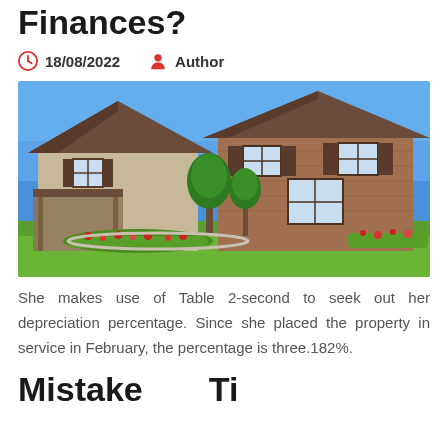Finances?
18/08/2022   Author
[Figure (photo): Exterior photo of a large suburban house with brick and siding facade, brown roof, covered porch, young trees in front yard with landscaped garden beds and green lawn, blue sky background.]
She makes use of Table 2-second to seek out her depreciation percentage. Since she placed the property in service in February, the percentage is three.182%.
Mistake   Ti...